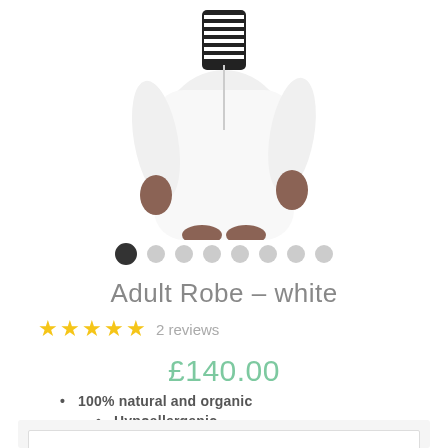[Figure (photo): Partial view of a person wearing a white adult robe, showing lower body and hands, with a striped collar/scarf visible at top, against a white background]
● ● ● ● ● ● ● ● (image carousel dots, first dot active)
Adult Robe – white
★★★★★ 2 reviews
£140.00
100% natural and organic
Hypoallergenic
Sustainable sizing
Machine washable